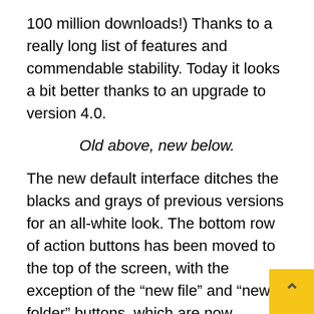100 million downloads!) Thanks to a really long list of features and commendable stability. Today it looks a bit better thanks to an upgrade to version 4.0.
Old above, new below.
The new default interface ditches the blacks and grays of previous versions for an all-white look. The bottom row of action buttons has been moved to the top of the screen, with the exception of the “new file” and “new folder” buttons, which are now accessible via the floating action button in the bottom corner. . (It’s a little hard to see with the default blue folders.) I would tell you what else is new in version 4.0